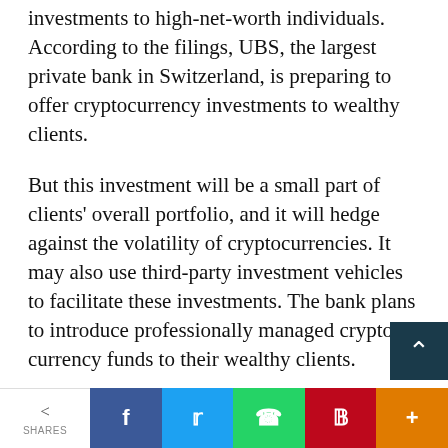investments to high-net-worth individuals. According to the filings, UBS, the largest private bank in Switzerland, is preparing to offer cryptocurrency investments to wealthy clients.
But this investment will be a small part of clients' overall portfolio, and it will hedge against the volatility of cryptocurrencies. It may also use third-party investment vehicles to facilitate these investments. The bank plans to introduce professionally managed crypto-currency funds to their wealthy clients.
While the fund will target high-net-worth